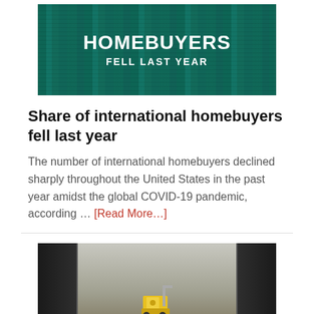[Figure (photo): Banner image with teal city skyline background showing text HOMEBUYERS FELL LAST YEAR in white bold letters]
Share of international homebuyers fell last year
The number of international homebuyers declined sharply throughout the United States in the past year amidst the global COVID-19 pandemic, according … [Read More…]
[Figure (photo): Photo of a forklift operator inside a warehouse or shipping container, viewed from inside looking out through open doors]